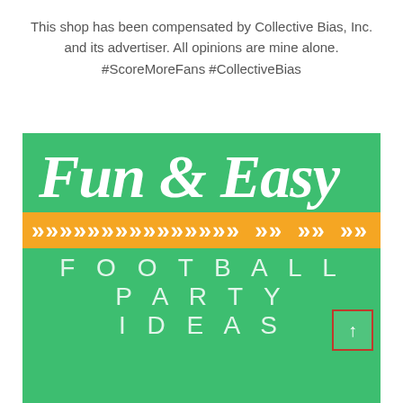This shop has been compensated by Collective Bias, Inc. and its advertiser. All opinions are mine alone. #ScoreMoreFans #CollectiveBias
[Figure (illustration): Green background promotional graphic with white bold italic text 'Fun & Easy', a gold/yellow chevron arrow banner, and white thin-font text 'FOOTBALL PARTY IDEAS' in large spaced letters. A small red-bordered box with an up arrow is in the bottom right.]